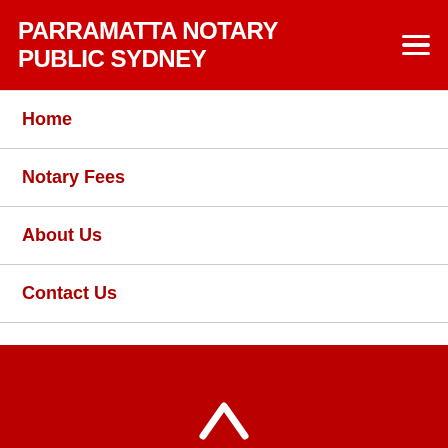PARRAMATTA NOTARY PUBLIC SYDNEY
Home
Notary Fees
About Us
Contact Us